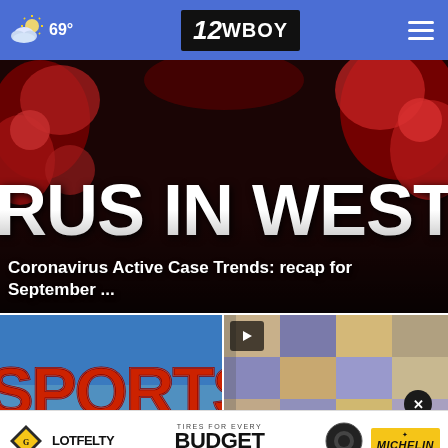69° 12WBOY
[Figure (screenshot): Coronavirus news graphic with large text 'RUS IN WEST' over viral imagery]
Coronavirus Active Case Trends: recap for September ...
[Figure (screenshot): Sports thumbnail image showing 'SPORTS' text on blue background]
[Figure (screenshot): Checkered pattern thumbnail with play button and close (x) button overlay]
[Figure (infographic): Lotfelty advertisement - Tires for Every Budget - Michelin - Bridgeport]